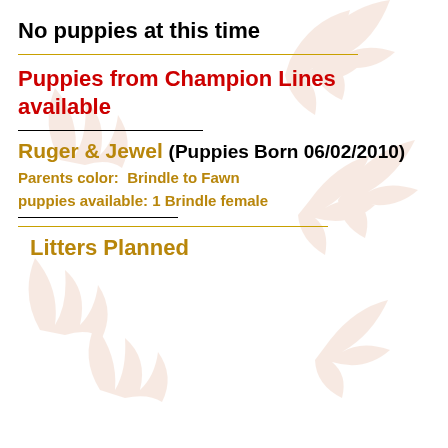No puppies at this time
Puppies from Champion Lines available
Ruger & Jewel (Puppies Born 06/02/2010)
Parents color:  Brindle to Fawn
puppies available: 1 Brindle female
Litters Planned